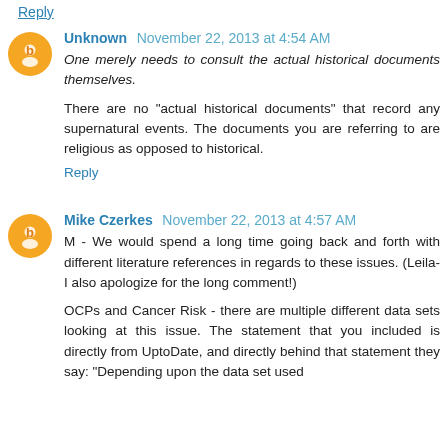Reply
Unknown  November 22, 2013 at 4:54 AM
One merely needs to consult the actual historical documents themselves.
There are no "actual historical documents" that record any supernatural events. The documents you are referring to are religious as opposed to historical.
Reply
Mike Czerkes  November 22, 2013 at 4:57 AM
M - We would spend a long time going back and forth with different literature references in regards to these issues. (Leila- I also apologize for the long comment!)
OCPs and Cancer Risk - there are multiple different data sets looking at this issue. The statement that you included is directly from UptoDate, and directly behind that statement they say: "Depending upon the data set used